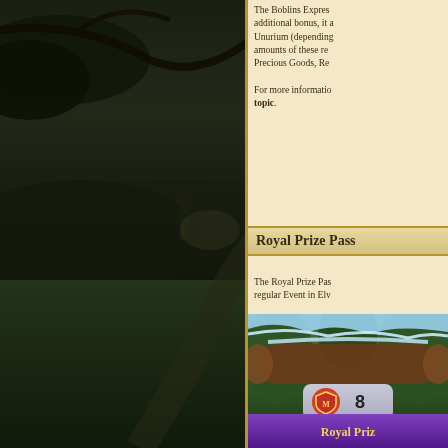[Figure (screenshot): Fantasy game landscape showing dark forest/castle scene on left side]
The Boblins Express additional bonus, it a Unurium (depending amounts of these re Precious Goods, Re
For more informatio topic.
Royal Prize Pass
The Royal Prize Pas regular Event in Elv
[Figure (screenshot): Game UI screenshot showing Royal Prize Pass interface with badge showing number 8 and purple banner reading Royal Priz]